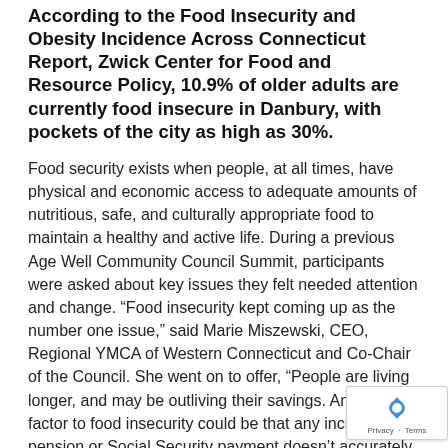According to the Food Insecurity and Obesity Incidence Across Connecticut Report, Zwick Center for Food and Resource Policy, 10.9% of older adults are currently food insecure in Danbury, with pockets of the city as high as 30%.
Food security exists when people, at all times, have physical and economic access to adequate amounts of nutritious, safe, and culturally appropriate food to maintain a healthy and active life. During a previous Age Well Community Council Summit, participants were asked about key issues they felt needed attention and change. “Food insecurity kept coming up as the number one issue,” said Marie Miszewski, CEO, Regional YMCA of Western Connecticut and Co-Chair of the Council. She went on to offer, “People are living longer, and may be outliving their savings. Another factor to food insecurity could be that any increase in pension or Social Security payment doesn’t accurately reflect the cost of livi
“In Danbury, 50% of the population are living belo poverty level and are struggling to access food,” said